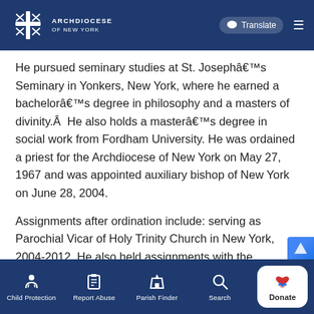ARCHDIOCESE OF NEW YORK | Translate
He pursued seminary studies at St. Josephâ€™s Seminary in Yonkers, New York, where he earned a bachelorâ€™s degree in philosophy and a masters of divinity.Â  He also holds a masterâ€™s degree in social work from Fordham University. He was ordained a priest for the Archdiocese of New York on May 27, 1967 and was appointed auxiliary bishop of New York on June 28, 2004.
Assignments after ordination include: serving as Parochial Vicar of Holy Trinity Church in New York, 2004-2012. He also held assignments with the
Child Protection | Report Abuse | Parish Finder | Search | Donate